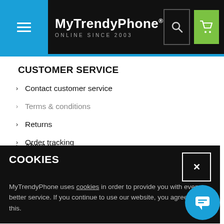MyTrendyPhone® ONLINE SINCE 2003
CUSTOMER SERVICE
Contact customer service
Terms & conditions
Returns
Order tracking
Club Trendy
Newsletter
COOKIES
MyTrendyPhone uses cookies in order to provide you with even better service. If you continue to use our website, you agree to this.
About us
Blog
Contact